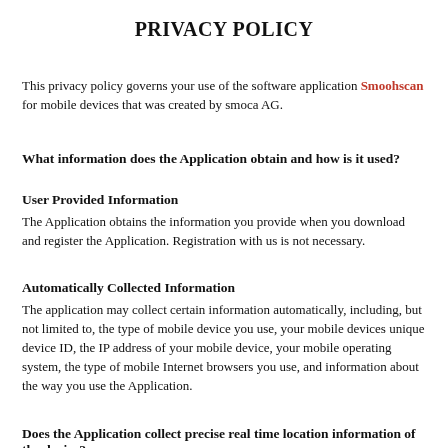PRIVACY POLICY
This privacy policy governs your use of the software application Smoohscan for mobile devices that was created by smoca AG.
What information does the Application obtain and how is it used?
User Provided Information
The Application obtains the information you provide when you download and register the Application. Registration with us is not necessary.
Automatically Collected Information
The application may collect certain information automatically, including, but not limited to, the type of mobile device you use, your mobile devices unique device ID, the IP address of your mobile device, your mobile operating system, the type of mobile Internet browsers you use, and information about the way you use the Application.
Does the Application collect precise real time location information of the device?